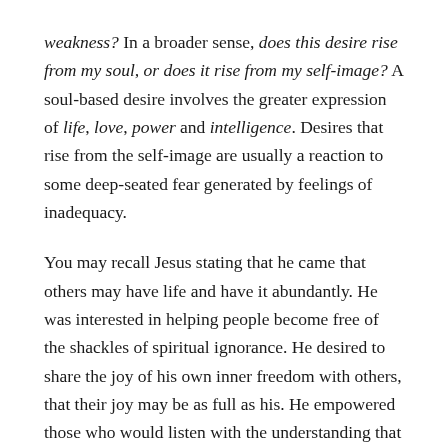weakness? In a broader sense, does this desire rise from my soul, or does it rise from my self-image? A soul-based desire involves the greater expression of life, love, power and intelligence. Desires that rise from the self-image are usually a reaction to some deep-seated fear generated by feelings of inadequacy.
You may recall Jesus stating that he came that others may have life and have it abundantly. He was interested in helping people become free of the shackles of spiritual ignorance. He desired to share the joy of his own inner freedom with others, that their joy may be as full as his. He empowered those who would listen with the understanding that the same innate intelligence that cared for the birds of the air and the lilies of the field would also care for them. To lifted from within, the divine...